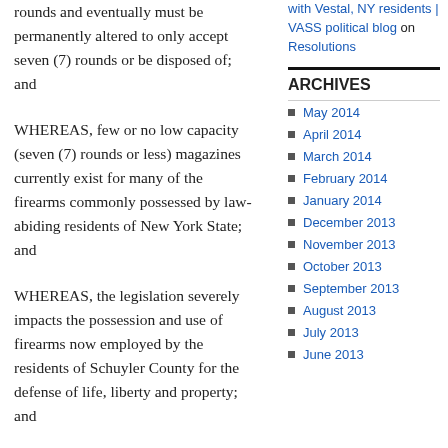rounds and eventually must be permanently altered to only accept seven (7) rounds or be disposed of; and
WHEREAS, few or no low capacity (seven (7) rounds or less) magazines currently exist for many of the firearms commonly possessed by law-abiding residents of New York State; and
WHEREAS, the legislation severely impacts the possession and use of firearms now employed by the residents of Schuyler County for the defense of life, liberty and property; and
WHEREAS, the legislation severely impacts the possession and use of firearms now employed for safe forms of recreation including, but not limited to hunting and target shooting; and
with Vestal, NY residents | VASS political blog on Resolutions
ARCHIVES
May 2014
April 2014
March 2014
February 2014
January 2014
December 2013
November 2013
October 2013
September 2013
August 2013
July 2013
June 2013